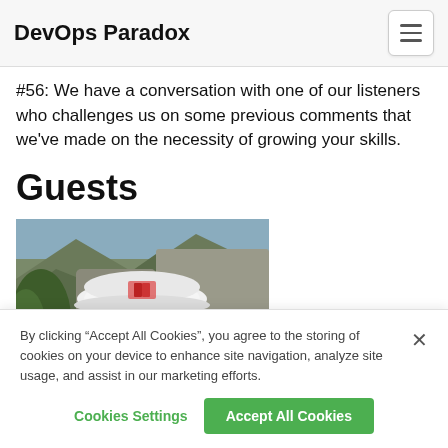DevOps Paradox
#56: We have a conversation with one of our listeners who challenges us on some previous comments that we've made on the necessity of growing your skills.
Guests
[Figure (photo): Outdoor photo of a man wearing a white hard hat and aviator sunglasses, with rocky mountain terrain and greenery in the background.]
By clicking “Accept All Cookies”, you agree to the storing of cookies on your device to enhance site navigation, analyze site usage, and assist in our marketing efforts.